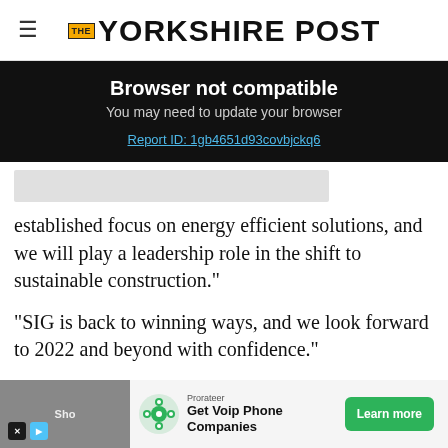THE YORKSHIRE POST
Browser not compatible
You may need to update your browser
Report ID: 1gb4651d93covbjckq6
established focus on energy efficient solutions, and we will play a leadership role in the shift to sustainable construction."
"SIG is back to winning ways, and we look forward to 2022 and beyond with confidence."
[Figure (screenshot): Prorateer advertisement banner: Get Voip Phone Companies with Learn more button]